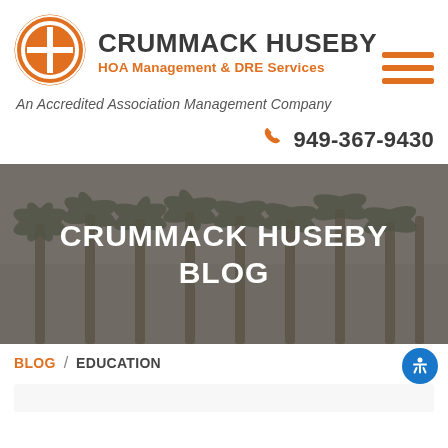[Figure (logo): Crummack Huseby circular orange and white logo with CH initials]
CRUMMACK HUSEBY
HOA Management & DRE Services
An Accredited Association Management Company
949-367-9430
[Figure (photo): Hero banner with palm trees in foggy/hazy sky background with overlay text CRUMMACK HUSEBY BLOG]
CRUMMACK HUSEBY BLOG
BLOG / EDUCATION